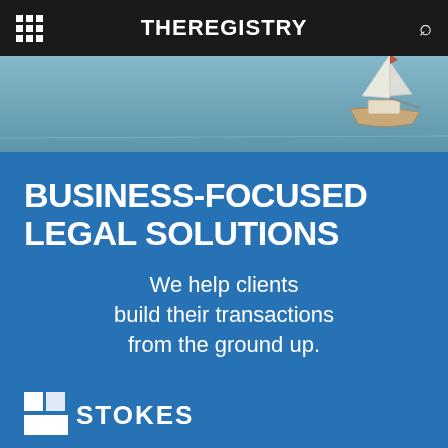THEREGISTRY
[Figure (photo): Aerial or water-level photo of a sailboat on blue water, cropped to top portion.]
BUSINESS-FOCUSED LEGAL SOLUTIONS
We help clients build their transactions from the ground up.
[Figure (logo): Stokes law firm logo: two white squares over a white rectangle, with the word STOKES in white bold letters.]